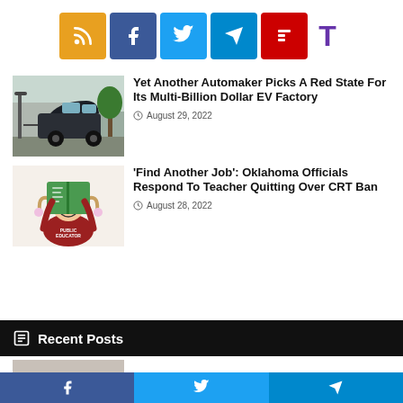[Figure (other): Social share icons bar: RSS (orange), Facebook (dark blue), Twitter (light blue), Telegram (blue), Flipboard (red), and a purple T icon]
[Figure (photo): Thumbnail of a car plugged into an EV charging station on a street]
Yet Another Automaker Picks A Red State For Its Multi-Billion Dollar EV Factory
August 29, 2022
[Figure (illustration): Cartoon illustration of a teacher figure labeled PUBLIC EDUCATOR holding a book overhead]
'Find Another Job': Oklahoma Officials Respond To Teacher Quitting Over CRT Ban
August 28, 2022
Recent Posts
[Figure (other): Partial thumbnail image visible at bottom, partially cut off]
Facebook Twitter Telegram